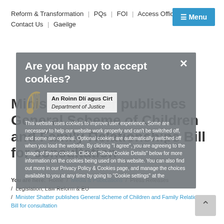Reform & Transformation | PQs | FOI | Access Officer | Contact Us | Gaeilge
[Figure (other): Blue menu button with hamburger icon and text 'Menu']
Minister Shatter publishes General Scheme of Children and Family Relationships Bill for consultation
You are here: Home / Media & Publications / Press Releases / Legislation, Law Reform & EU / Minister Shatter publishes General Scheme of Children and Family Relationships Bill for consultation
[Figure (screenshot): Cookie consent modal overlay with grey background. Contains title 'Are you happy to accept cookies?', Department of Justice logo (An Roinn Dlí agus Cirt), and cookie policy text: 'This website uses cookies to improve user experience. Some are necessary to help our website work properly and can't be switched off, and some are optional. Optional cookies are automatically switched off when you load the website. By clicking "I agree", you are agreeing to the usage of these cookies. Click on "Show Cookie Details" below for more information on the cookies being used on this website. You can also find out more in our Privacy Policy & Cookies page, and manage the choices available to you at any time by going to "Cookie settings" at the']